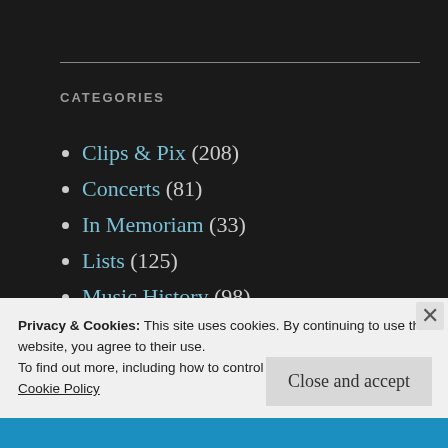CATEGORIES
Clips & Pix (208)
Concerts (81)
In Memoriam (33)
Lists (125)
Music History (98)
Music Reviews (299)
Privacy & Cookies: This site uses cookies. By continuing to use this website, you agree to their use.
To find out more, including how to control cookies, see here:
Cookie Policy
Close and accept